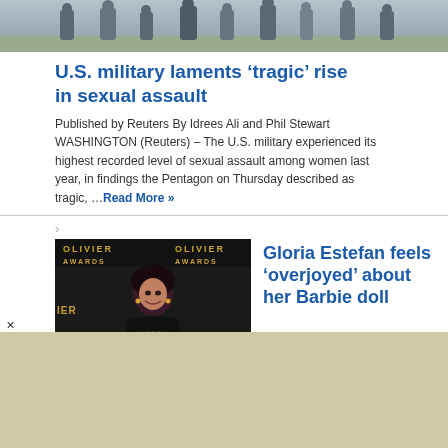[Figure (photo): Group of people in military/casual attire, top of page]
U.S. military laments ‘tragic’ rise in sexual assault
Published by Reuters By Idrees Ali and Phil Stewart WASHINGTON (Reuters) – The U.S. military experienced its highest recorded level of sexual assault among women last year, in findings the Pentagon on Thursday described as tragic, …Read More »
[Figure (photo): Gloria Estefan at the Olivier Awards, wearing a black lace dress]
Gloria Estefan feels ‘overjoyed’ about her Barbie doll